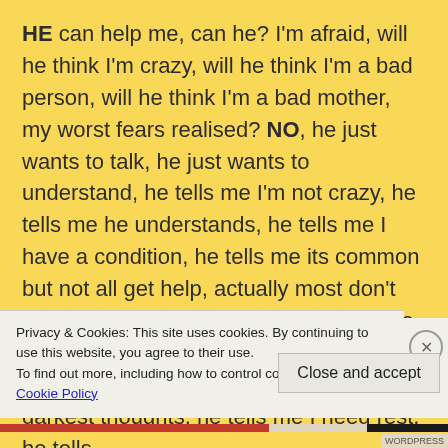HE can help me, can he? I'm afraid, will he think I'm crazy, will he think I'm a bad person, will he think I'm a bad mother, my worst fears realised? NO, he just wants to talk, he just wants to understand, he tells me I'm not crazy, he tells me he understands, he tells me I have a condition, he tells me its common but not all get help, actually most don't get help at all! He tells me that I'm brave, he tells me I am safe, he tells me I can be honest, he tells me to tell him my darkest thoughts, he tells me I need rest, he tells
Privacy & Cookies: This site uses cookies. By continuing to use this website, you agree to their use.
To find out more, including how to control cookies, see here: Cookie Policy
Close and accept